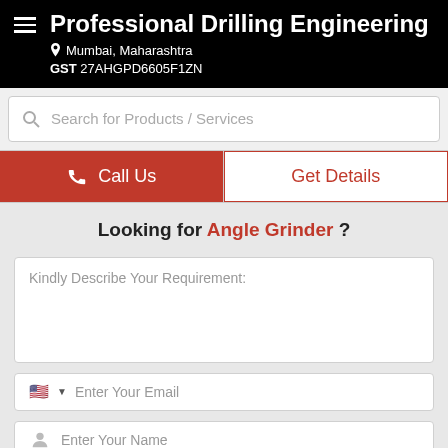Professional Drilling Engineering
Mumbai, Maharashtra
GST 27AHGPD6605F1ZN
Search for Products / Services
Call Us
Get Details
Looking for Angle Grinder ?
Kindly Describe Your Requirement:
Enter Your Email
Enter Your Name